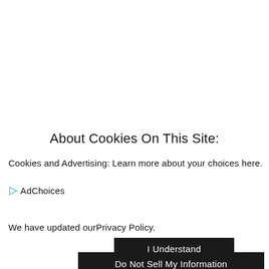About Cookies On This Site:
Cookies and Advertising: Learn more about your choices here.
▷ AdChoices
We have updated ourPrivacy Policy.
I Understand
Do Not Sell My Information